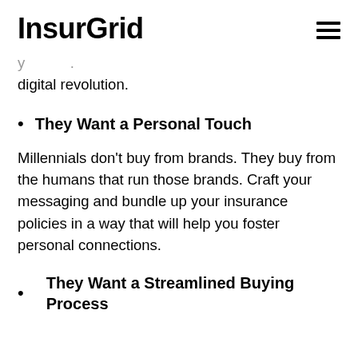InsurGrid
digital revolution.
They Want a Personal Touch
Millennials don't buy from brands. They buy from the humans that run those brands. Craft your messaging and bundle up your insurance policies in a way that will help you foster personal connections.
They Want a Streamlined Buying Process